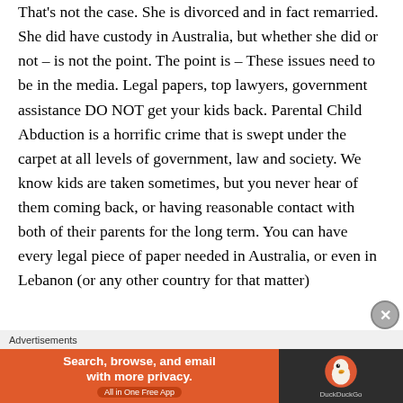That's not the case. She is divorced and in fact remarried. She did have custody in Australia, but whether she did or not – is not the point. The point is – These issues need to be in the media. Legal papers, top lawyers, government assistance DO NOT get your kids back. Parental Child Abduction is a horrific crime that is swept under the carpet at all levels of government, law and society. We know kids are taken sometimes, but you never hear of them coming back, or having reasonable contact with both of their parents for the long term. You can have every legal piece of paper needed in Australia, or even in Lebanon (or any other country for that matter)
Advertisements
[Figure (other): DuckDuckGo advertisement banner: orange left section with text 'Search, browse, and email with more privacy. All in One Free App' and dark right section with DuckDuckGo duck logo and brand name.]